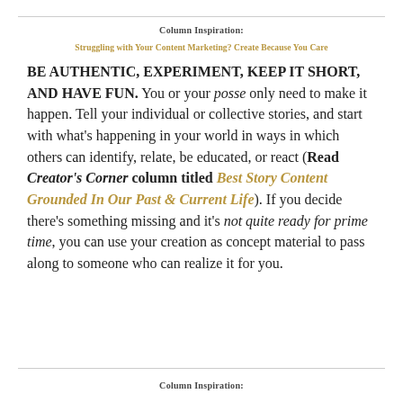Column Inspiration:
Struggling with Your Content Marketing? Create Because You Care
BE AUTHENTIC, EXPERIMENT, KEEP IT SHORT, AND HAVE FUN. You or your posse only need to make it happen. Tell your individual or collective stories, and start with what’s happening in your world in ways in which others can identify, relate, be educated, or react (Read Creator’s Corner column titled Best Story Content Grounded In Our Past & Current Life). If you decide there’s something missing and it’s not quite ready for prime time, you can use your creation as concept material to pass along to someone who can realize it for you.
Column Inspiration: